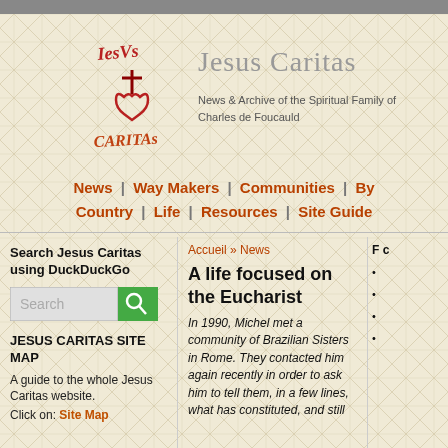Jesus Caritas
News & Archive of the Spiritual Family of Charles de Foucauld
News | Way Makers | Communities | By Country | Life | Resources | Site Guide
Search Jesus Caritas using DuckDuckGo
JESUS CARITAS SITE MAP
A guide to the whole Jesus Caritas website.
Click on: Site Map
Accueil » News
A life focused on the Eucharist
In 1990, Michel met a community of Brazilian Sisters in Rome. They contacted him again recently in order to ask him to tell them, in a few lines, what has constituted, and still